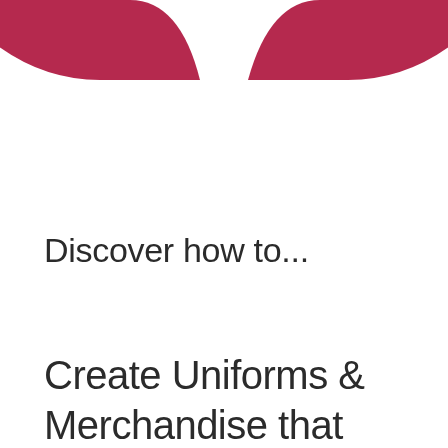[Figure (illustration): Two crimson/dark-pink curved arch shapes at the top of the page, one on the left and one on the right, forming a decorative header graphic.]
Discover how to...
Create Uniforms & Merchandise that attracts